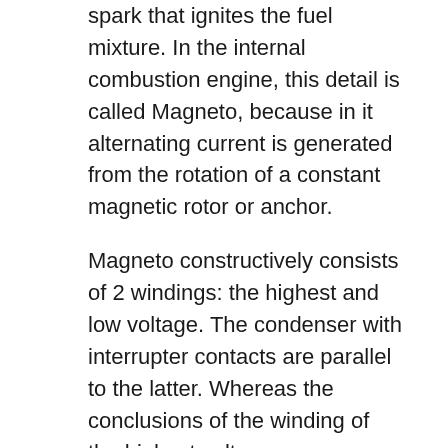spark that ignites the fuel mixture. In the internal combustion engine, this detail is called Magneto, because in it alternating current is generated from the rotation of a constant magnetic rotor or anchor.
Magneto constructively consists of 2 windings: the highest and low voltage. The condenser with interrupter contacts are parallel to the latter. Whereas the conclusions of the winding of the highest voltage are connected to the candle and body. They are both wound on a core, between the poles of which a spinning magnet is installed, magnetized longitudinally.
Https: // r-d1.Info/2990-Kak-Snyat-Katushku-S-Trimmera-Shtil-2020-03-29.Html https: // r-